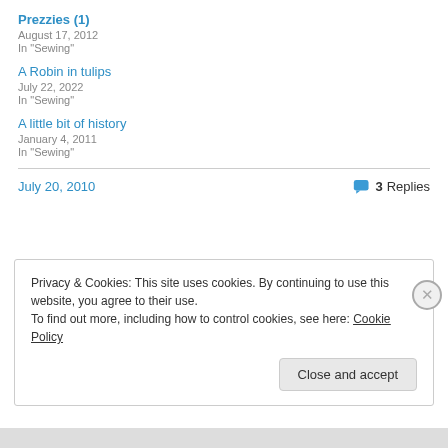Prezzies (1)
August 17, 2012
In "Sewing"
A Robin in tulips
July 22, 2022
In "Sewing"
A little bit of history
January 4, 2011
In "Sewing"
July 20, 2010    3 Replies
Privacy & Cookies: This site uses cookies. By continuing to use this website, you agree to their use.
To find out more, including how to control cookies, see here: Cookie Policy
Close and accept